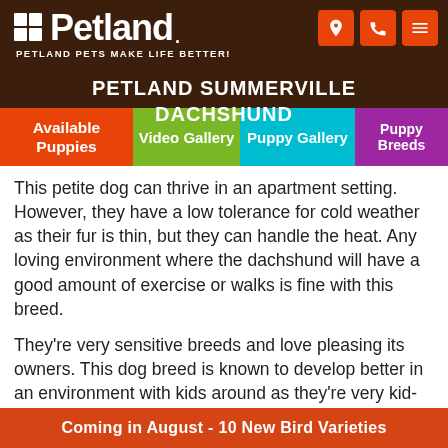Petland — PETLAND PETS MAKE LIFE BETTER!
PETLAND SUMMERVILLE DACHSHUND
Available Puppies | Video Gallery | Puppy Gallery | Puppy Breeds
This petite dog can thrive in an apartment setting. However, they have a low tolerance for cold weather as their fur is thin, but they can handle the heat. Any loving environment where the dachshund will have a good amount of exercise or walks is fine with this breed.
They're very sensitive breeds and love pleasing its owners. This dog breed is known to develop better in an environment with kids around as they're very kid-friendly.
Exercise
Coming in August - 10 New Bird Varieties